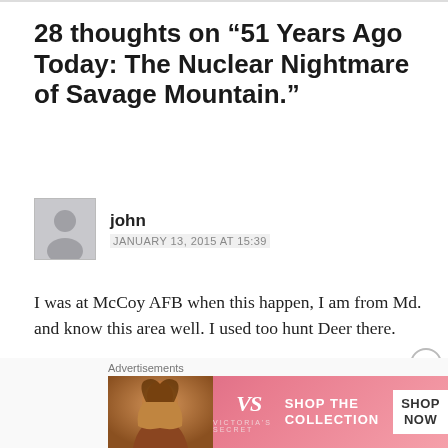28 thoughts on “51 Years Ago Today: The Nuclear Nightmare of Savage Mountain.”
john
JANUARY 13, 2015 AT 15:39
I was at McCoy AFB when this happen, I am from Md. and know this area well. I used too hunt Deer there.
★ Liked by 1 person
[Figure (screenshot): Victoria's Secret advertisement banner: shop the collection, shop now button]